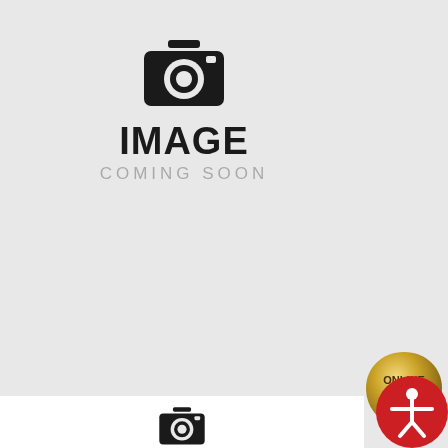[Figure (illustration): Camera icon placeholder with text IMAGE COMING SOON on grey background]
Poacha
soft & fluffy bread served with cream cheese, honey or jam
[Figure (illustration): ONLINE ORDER gold teardrop badge]
[Figure (illustration): FREE LUNCH red wax seal badge]
[Figure (illustration): GIFT CARD gold tag badge]
[Figure (illustration): Accessibility person icon in red circle]
[Figure (illustration): Second product card camera placeholder at bottom]